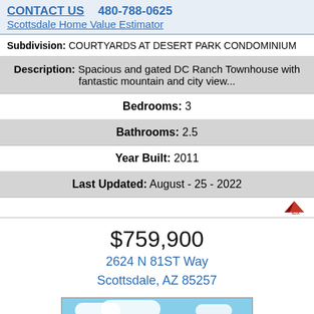CONTACT US  480-788-0625
Scottsdale Home Value Estimator
Subdivision: COURTYARDS AT DESERT PARK CONDOMINIUM
Description: Spacious and gated DC Ranch Townhouse with fantastic mountain and city view...
Bedrooms: 3
Bathrooms: 2.5
Year Built: 2011
Last Updated: August - 25 - 2022
$759,900
2624 N 81ST Way
Scottsdale, AZ 85257
[Figure (photo): Exterior photo of the property with blue sky and green trees visible]